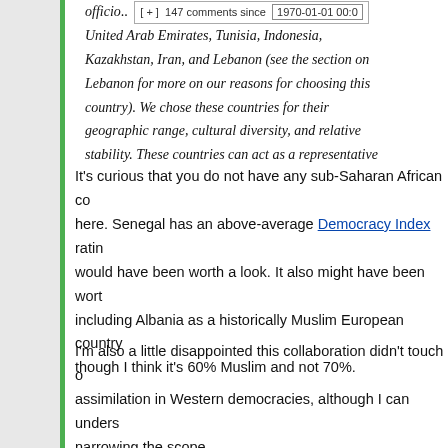officio... [+] 147 comments since 1970-01-01 00:0 United Arab Emirates, Tunisia, Indonesia, Kazakhstan, Iran, and Lebanon (see the section on Lebanon for more on our reasons for choosing this country). We chose these countries for their geographic range, cultural diversity, and relative stability. These countries can act as a representative sample for future inquiry on politics in Islamic countries.
It's curious that you do not have any sub-Saharan African co... here. Senegal has an above-average Democracy Index ratin... would have been worth a look. It also might have been wort... including Albania as a historically Muslim European country... though I think it's 60% Muslim and not 70%.
I'm also a little disappointed this collaboration didn't touch o... assimilation in Western democracies, although I can unders... narrowing the scope.